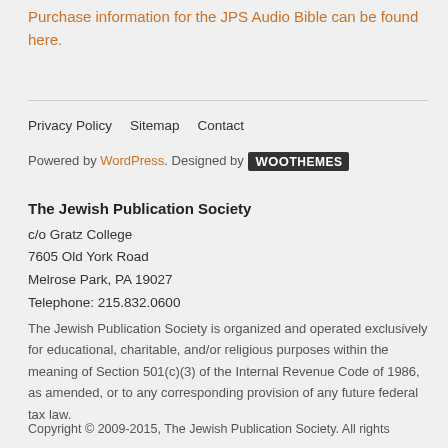Purchase information for the JPS Audio Bible can be found here.
Privacy Policy   Sitemap   Contact
Powered by WordPress. Designed by WooThemes
The Jewish Publication Society
c/o Gratz College
7605 Old York Road
Melrose Park, PA 19027
Telephone: 215.832.0600
The Jewish Publication Society is organized and operated exclusively for educational, charitable, and/or religious purposes within the meaning of Section 501(c)(3) of the Internal Revenue Code of 1986, as amended, or to any corresponding provision of any future federal tax law.
Copyright © 2009-2015, The Jewish Publication Society. All rights